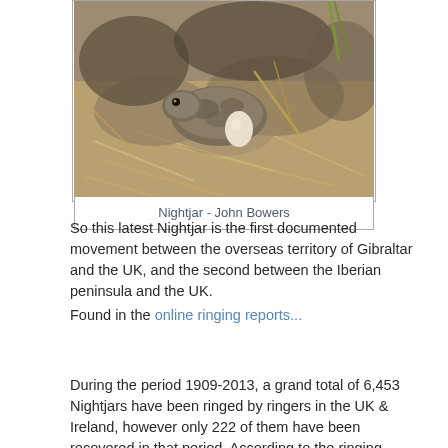[Figure (photo): A Nightjar bird sitting on the ground with an egg, surrounded by dry grass and twigs]
Nightjar - John Bowers
So this latest Nightjar is the first documented movement between the overseas territory of Gibraltar and the UK, and the second between the Iberian peninsula and the UK.
Found in the online ringing reports...
During the period 1909-2013, a grand total of 6,453 Nightjars have been ringed by ringers in the UK & Ireland, however only 222 of them have been recovered in that period. According to the ringing database, recoveries documenting the movements of Nightjars between the UK and other countries are not very many, 16 in total. Not susprisingly, movements between the UK and France are at the top of this category (11 birds), but there are other five movements between the UK and other countries worth mentioning: Algeria, Morocco, Spain and The